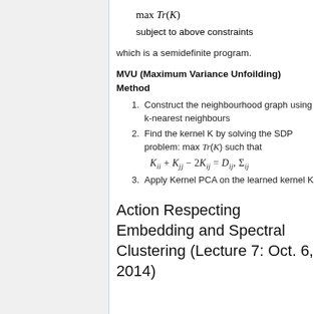which is a semidefinite program.
MVU (Maximum Variance Unfoilding) Method
Construct the neighbourhood graph using k-nearest neighbours
Find the kernel K by solving the SDP problem: max Tr(K) such that K_ii + K_jj - 2K_ij = D_ij, sum_ij ...
Apply Kernel PCA on the learned kernel K
Action Respecting Embedding and Spectral Clustering (Lecture 7: Oct. 6, 2014)